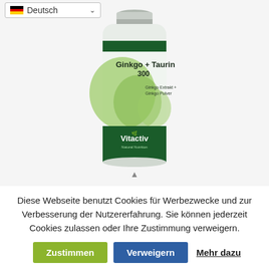[Figure (photo): Product bottle of Vitactiv Ginkgo + Taurin 300, showing a white bottle with dark green label, Ginkgo leaf imagery, and text 'Ginkgo Extrakt + Ginkgo Pulver'. A German language selector dropdown is visible in the top-left corner.]
Diese Webseite benutzt Cookies für Werbezwecke und zur Verbesserung der Nutzererfahrung. Sie können jederzeit Cookies zulassen oder Ihre Zustimmung verweigern.
Zustimmen | Verweigern | Mehr dazu